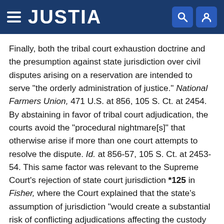JUSTIA
Finally, both the tribal court exhaustion doctrine and the presumption against state jurisdiction over civil disputes arising on a reservation are intended to serve "the orderly administration of justice." National Farmers Union, 471 U.S. at 856, 105 S. Ct. at 2454. By abstaining in favor of tribal court adjudication, the courts avoid the "procedural nightmare[s]" that otherwise arise if more than one court attempts to resolve the dispute. Id. at 856-57, 105 S. Ct. at 2453-54. This same factor was relevant to the Supreme Court's rejection of state court jurisdiction *125 in Fisher, where the Court explained that the state's assumption of jurisdiction "would create a substantial risk of conflicting adjudications affecting the custody of the child." 424 U.S. at 388, 96 S. Ct. at 947.
The New York Courts, although not expressly referring